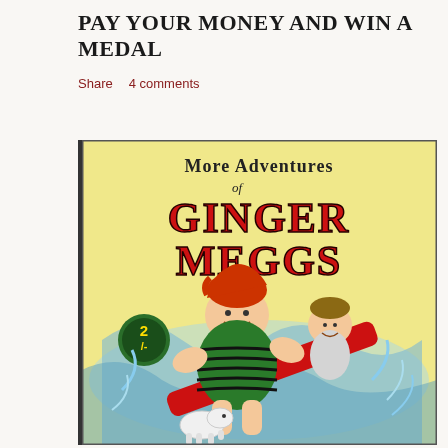PAY YOUR MONEY AND WIN A MEDAL
Share   4 comments
[Figure (illustration): Comic book cover: 'More Adventures of Ginger Meggs' showing a red-haired boy in a green striped swimsuit surfing/sliding on water with another child and a small white dog. Price tag shows 2/- (two shillings). Bold red lettering for 'Ginger Meggs' on a yellow background.]